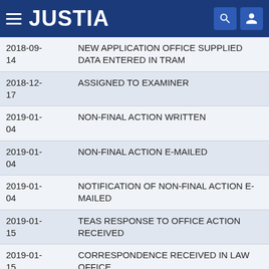JUSTIA
| Date | Description |
| --- | --- |
| 2018-09-14 | NEW APPLICATION OFFICE SUPPLIED DATA ENTERED IN TRAM |
| 2018-12-17 | ASSIGNED TO EXAMINER |
| 2019-01-04 | NON-FINAL ACTION WRITTEN |
| 2019-01-04 | NON-FINAL ACTION E-MAILED |
| 2019-01-04 | NOTIFICATION OF NON-FINAL ACTION E-MAILED |
| 2019-01-15 | TEAS RESPONSE TO OFFICE ACTION RECEIVED |
| 2019-01-15 | CORRESPONDENCE RECEIVED IN LAW OFFICE |